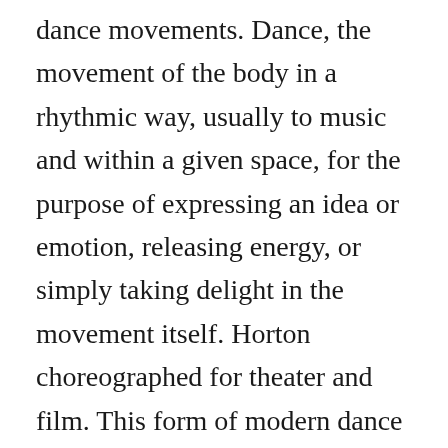dance movements. Dance, the movement of the body in a rhythmic way, usually to music and within a given space, for the purpose of expressing an idea or emotion, releasing energy, or simply taking delight in the movement itself. Horton choreographed for theater and film. This form of modern dance is what you commonly see in broadway musicals and shows on televisions. However, this approach is difficult to generalise to other types of dancers given that some of the items created are not applicable to recreational dancers (i.e., “preparing for a career”) while others are specific to certain genres (i.e. The most studied version of the Natya Shastra text consists of about 6000 verses structured into